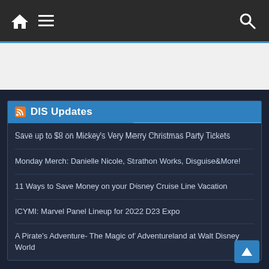Navigation bar with home, menu, and search icons
[Figure (screenshot): White advertisement/banner area]
DIS Updates
Save up to $8 on Mickey's Very Merry Christmas Party Tickets
Monday Merch: Danielle Nicole, Strathon Works, Disguise&More!
11 Ways to Save Money on your Disney Cruise Line Vacation
ICYMI: Marvel Panel Lineup for 2022 D23 Expo
A Pirate's Adventure- The Magic of Adventureland at Walt Disney World